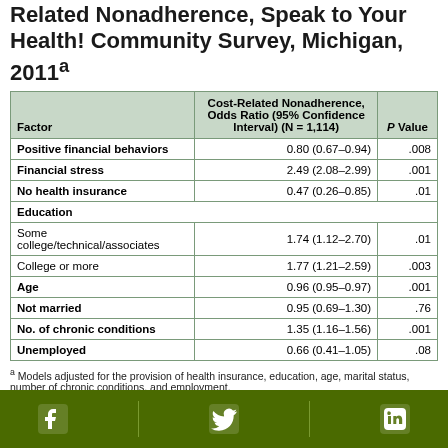Related Nonadherence, Speak to Your Health! Community Survey, Michigan, 2011a
| Factor | Cost-Related Nonadherence, Odds Ratio (95% Confidence Interval) (N = 1,114) | P Value |
| --- | --- | --- |
| Positive financial behaviors | 0.80 (0.67–0.94) | .008 |
| Financial stress | 2.49 (2.08–2.99) | .001 |
| No health insurance | 0.47 (0.26–0.85) | .01 |
| Education |  |  |
| Some college/technical/associates | 1.74 (1.12–2.70) | .01 |
| College or more | 1.77 (1.21–2.59) | .003 |
| Age | 0.96 (0.95–0.97) | .001 |
| Not married | 0.95 (0.69–1.30) | .76 |
| No. of chronic conditions | 1.35 (1.16–1.56) | .001 |
| Unemployed | 0.66 (0.41–1.05) | .08 |
a Models adjusted for the provision of health insurance, education, age, marital status, number of chronic conditions, and employment.